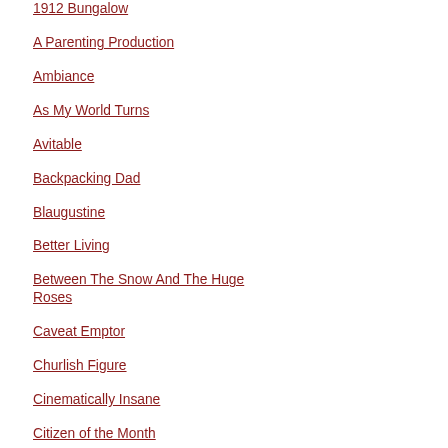1912 Bungalow
A Parenting Production
Ambiance
As My World Turns
Avitable
Backpacking Dad
Blaugustine
Better Living
Between The Snow And The Huge Roses
Caveat Emptor
Churlish Figure
Cinematically Insane
Citizen of the Month
Collecting Tokens
Communicatrix
Compost Studios
Consuming LA
the papal authority of the first Mayor Dale... the King’s Men” is loosely based (some s... Democratic Governor and Senator from L... assassinated on September 8, 1935 at th... “Share Our Wealth” and “Every Man a Ki... popular during the Depression and he ac... home state. Long was planning to mount... down at the age of 42.

I have always been fascinated by the sto... Huey Long. Because he’s such a riveting... character, I’m tempted to view him, as Richard Nixon did, as an American folk h... Did Robert Penn Warren’s Pulitizer Prize... winning book “All the King’s Men” and th... subsequent film versions slander Huey L... It’s clear that his ideas were radical and h... power absolute but he also achieved a lo... positive things during his political career.... the end, however, there’s no way in hell I... defend a man who was ready to hop into... with vile American thugs such as Father Charles Coughlin and Gerald L. K. Smith... Disciples of Christ minister and founder...